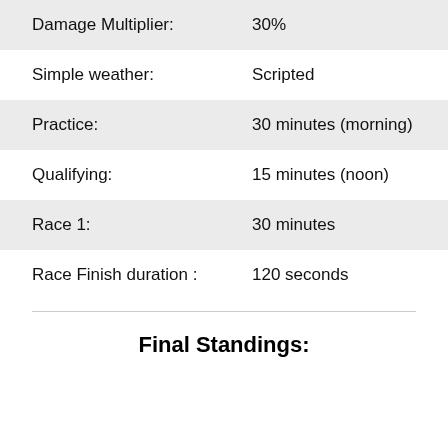Damage Multiplier: 30%
Simple weather: Scripted
Practice: 30 minutes (morning)
Qualifying: 15 minutes (noon)
Race 1: 30 minutes
Race Finish duration : 120 seconds
Final Standings: